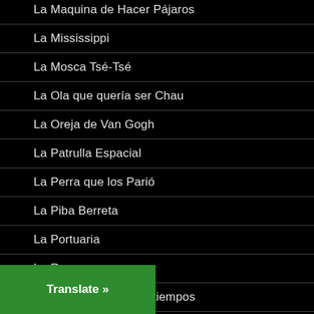La Maquina de Hacer Pájaros
La Mississippi
La Mosca Tsé-Tsé
La Ola que quería ser Chau
La Oreja de Van Gogh
La Patrulla Espacial
La Perra que los Parió
La Piba Berreta
La Portuaria
La Renga
La suma de todos los tiempos
La Tupaca
Translate »